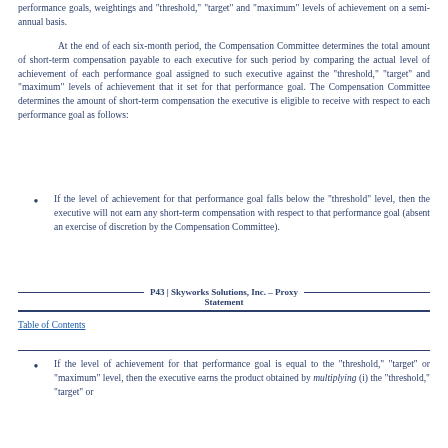performance goals, weightings and "threshold," "target" and "maximum" levels of achievement on a semi-annual basis.
At the end of each six-month period, the Compensation Committee determines the total amount of short-term compensation payable to each executive for such period by comparing the actual level of achievement of each performance goal assigned to such executive against the "threshold," "target" and "maximum" levels of achievement that it set for that performance goal. The Compensation Committee determines the amount of short-term compensation the executive is eligible to receive with respect to each performance goal as follows:
If the level of achievement for that performance goal falls below the "threshold" level, then the executive will not earn any short-term compensation with respect to that performance goal (absent an exercise of discretion by the Compensation Committee).
P43 | Skyworks Solutions, Inc. – Proxy Statement
Table of Contents
If the level of achievement for that performance goal is equal to the "threshold," "target" or "maximum" level, then the executive earns the product obtained by multiplying (i) the "threshold," "target" or